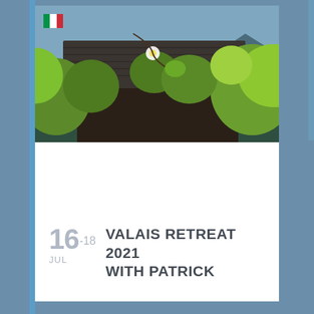[Figure (photo): Alpine mountain cabin scene with lush green foliage, wooden chalet-style building with dark roof under blue mountain sky. Italian flag icon visible in top-left corner.]
16 -18 JUL  VALAIS RETREAT 2021 WITH PATRICK